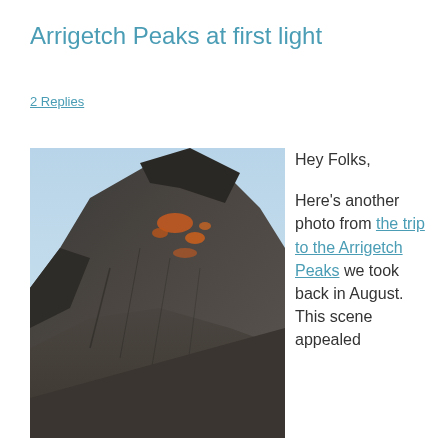Arrigetch Peaks at first light
2 Replies
[Figure (photo): A close-up photograph of a rugged mountain peak with dark rocky cliffs and orange lichen patches, illuminated by early morning light against a pale blue sky.]
Hey Folks,

Here's another photo from the trip to the Arrigetch Peaks we took back in August. This scene appealed